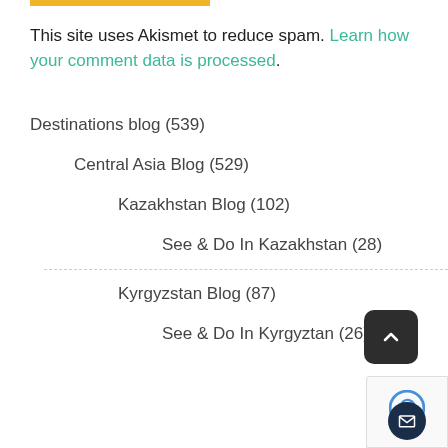This site uses Akismet to reduce spam. Learn how your comment data is processed.
Destinations blog (539)
Central Asia Blog (529)
Kazakhstan Blog (102)
See & Do In Kazakhstan (28)
Kyrgyzstan Blog (87)
See & Do In Kyrgyztan (26)